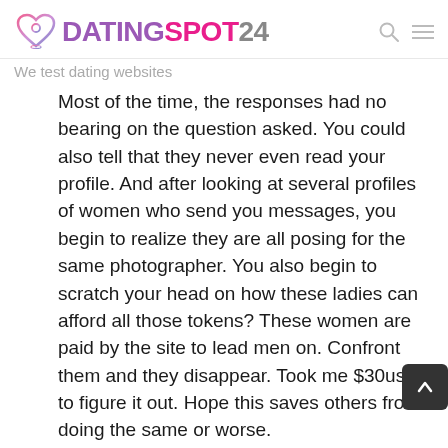DATINGSPOT24 — We test dating websites
Most of the time, the responses had no bearing on the question asked. You could also tell that they never even read your profile. And after looking at several profiles of women who send you messages, you begin to realize they are all posing for the same photographer. You also begin to scratch your head on how these ladies can afford all those tokens? These women are paid by the site to lead men on. Confront them and they disappear. Took me $30usd to figure it out. Hope this saves others from doing the same or worse.